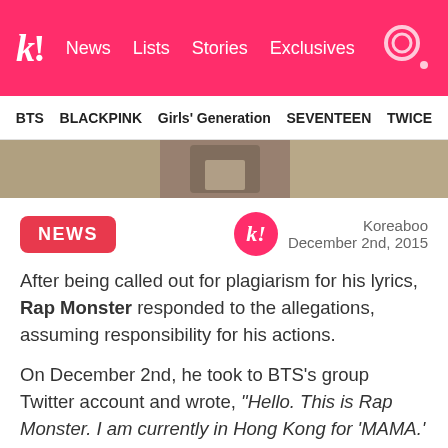k! News Lists Stories Exclusives
BTS BLACKPINK Girls' Generation SEVENTEEN TWICE
[Figure (photo): Partial photo showing a person's torso and hands with tattoos and rings, holding something, outdoors with blurred background]
NEWS
Koreaboo
December 2nd, 2015
After being called out for plagiarism for his lyrics, Rap Monster responded to the allegations, assuming responsibility for his actions.
On December 2nd, he took to BTS's group Twitter account and wrote, “Hello. This is Rap Monster. I am currently in Hong Kong for ‘MAMA.’ Today is a very important day for BTS